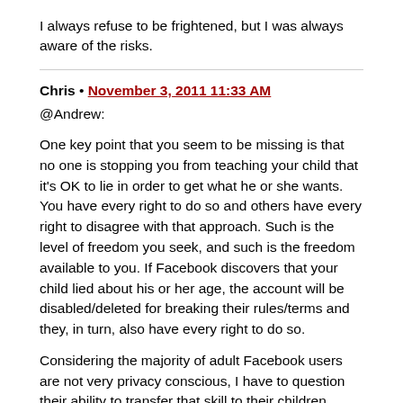I always refuse to be frightened, but I was always aware of the risks.
Chris • November 3, 2011 11:33 AM
@Andrew:

One key point that you seem to be missing is that no one is stopping you from teaching your child that it's OK to lie in order to get what he or she wants. You have every right to do so and others have every right to disagree with that approach. Such is the level of freedom you seek, and such is the freedom available to you. If Facebook discovers that your child lied about his or her age, the account will be disabled/deleted for breaking their rules/terms and they, in turn, also have every right to do so.

Considering the majority of adult Facebook users are not very privacy conscious, I have to question their ability to transfer that skill to their children. What's being regulated in this case is the age at which the government says it's OK for Facebook to openly start aggregating and mining users'